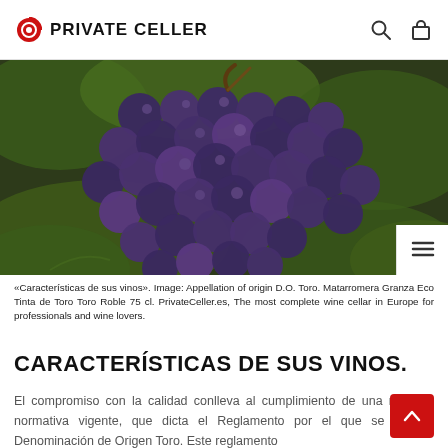PRIVATE CELLER
[Figure (photo): Close-up photograph of clusters of dark purple/blue grapes on a vine with green leaves in background. Appellation of origin D.O. Toro.]
«Características de sus vinos». Image: Appellation of origin D.O. Toro. Matarromera Granza Eco Tinta de Toro Toro Roble 75 cl. PrivateCeller.es, The most complete wine cellar in Europe for professionals and wine lovers.
CARACTERÍSTICAS DE SUS VINOS.
El compromiso con la calidad conlleva al cumplimiento de una rigurosa normativa vigente, que dicta el Reglamento por el que se rige la Denominación de Origen Toro. Este reglamento